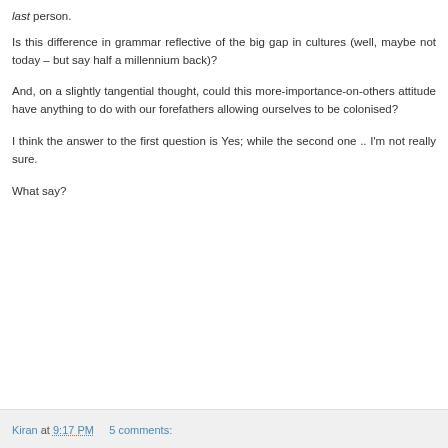last person.
Is this difference in grammar reflective of the big gap in cultures (well, maybe not today – but say half a millennium back)?
And, on a slightly tangential thought, could this more-importance-on-others attitude have anything to do with our forefathers allowing ourselves to be colonised?
I think the answer to the first question is Yes; while the second one .. I'm not really sure.
What say?
Kiran at 9:17 PM    5 comments: